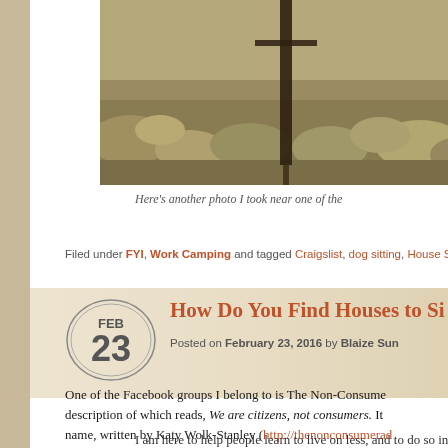[Figure (photo): Outdoor nature photo showing desert scrubland with a dark figure/scarecrow holding a staff or pole, visible at the top of the page (partially cropped)]
Here's another photo I took near one of the
Filed under FYI, Work Camping and tagged Craigslist, dog sitting, House Sitters Am
How Do You Find Houses to Si
Posted on February 23, 2016 by Blaize Sun
One of the Facebook groups I belong to is The Non-Consume description of which reads, We are citizens, not consumers. It name, written by Katy Wolk-Stanley (http://thenonconsumerad says about herself,
I am here to help people learn to live on less, and to do so in a w